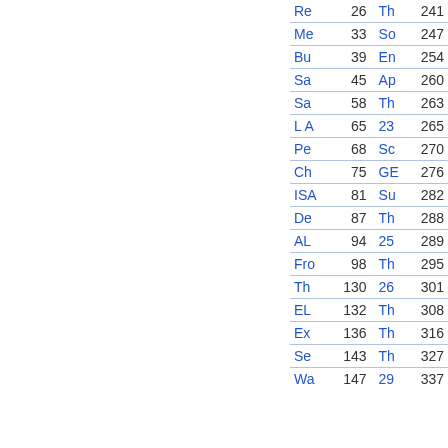| Re | 26 | Th | 241 |
| Me | 33 | So | 247 |
| Bu | 39 | En | 254 |
| Sa | 45 | Ap | 260 |
| Sa | 58 | Th | 263 |
| L A | 65 | 23 | 265 |
| Pe | 68 | Sc | 270 |
| Ch | 75 | GE | 276 |
| ISA | 81 | Su | 282 |
| De | 87 | Th | 288 |
| AL | 94 | 25 | 289 |
| Fro | 98 | Th | 295 |
| Th | 130 | 26 | 301 |
| EL | 132 | Th | 308 |
| Ex | 136 | Th | 316 |
| Se | 143 | Th | 327 |
| Wa | 147 | 29 | 337 |